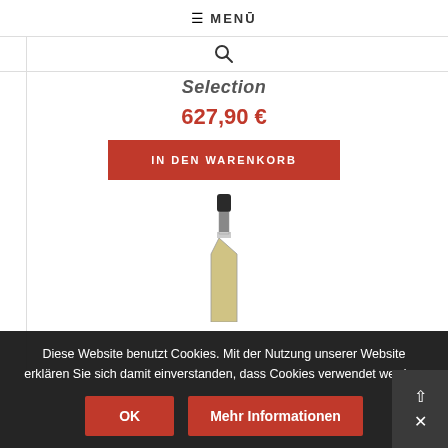☰ MENÜ
[Figure (screenshot): Search icon (magnifying glass)]
Selection
627,90 €
IN DEN WARENKORB
[Figure (photo): Whisky bottle with dark cap and light label, partially visible]
Diese Website benutzt Cookies. Mit der Nutzung unserer Website erklären Sie sich damit einverstanden, dass Cookies verwendet werden.
OK
Mehr Informationen